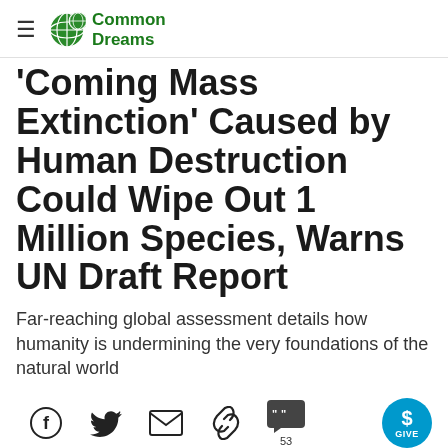Common Dreams
'Coming Mass Extinction' Caused by Human Destruction Could Wipe Out 1 Million Species, Warns UN Draft Report
Far-reaching global assessment details how humanity is undermining the very foundations of the natural world
[Figure (infographic): Social sharing icons: Facebook, Twitter, Email, Link, Comments (53), and a Give button]